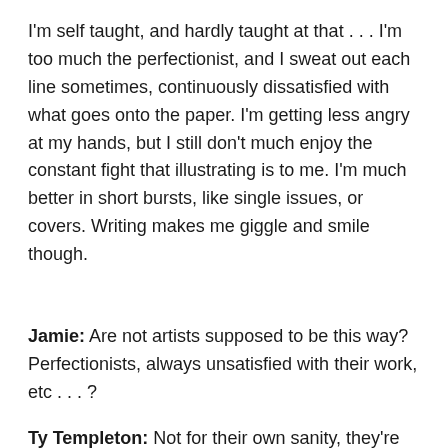I'm self taught, and hardly taught at that . . . I'm too much the perfectionist, and I sweat out each line sometimes, continuously dissatisfied with what goes onto the paper. I'm getting less angry at my hands, but I still don't much enjoy the constant fight that illustrating is to me. I'm much better in short bursts, like single issues, or covers. Writing makes me giggle and smile though.
Jamie: Are not artists supposed to be this way? Perfectionists, always unsatisfied with their work, etc . . . ?
Ty Templeton: Not for their own sanity, they're not supposed to be. I'd rather not spend my days frustrated. I get more of a hoot out of laughing and tickling my children than fighting with my lack of ability to draw. I'm a good writer, and a good inker, and I never seem to sweat that stuff, but penciling is something I'm not basically very good at, and I find it frustrating. I've read that Jerry Ordway and Al